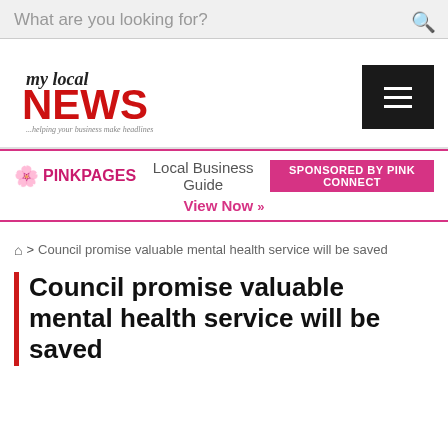What are you looking for?
[Figure (logo): my local NEWS logo with tagline '...helping your business make headlines']
[Figure (logo): Pink Pages - Local Business Guide - Sponsored by Pink Connect banner with 'View Now »' link]
🏠 > Council promise valuable mental health service will be saved
Council promise valuable mental health service will be saved